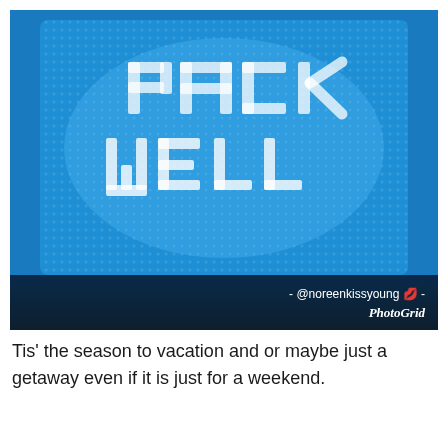[Figure (photo): A blue mesh/net fabric packing cube or bag with the text 'PACK WELL' printed on it in white dotted/pixel letters. The background is dark blue with a gradient footer bar showing '- @noreenkissyoung 💋 - PhotoGrid' in white text on the right side.]
Tis' the season to vacation and or maybe just a getaway even if it is just for a weekend.